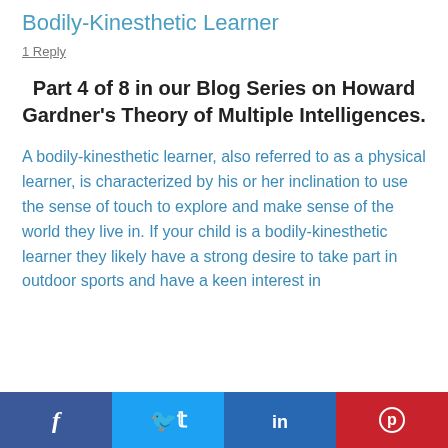Bodily-Kinesthetic Learner
1 Reply
Part 4 of 8 in our Blog Series on Howard Gardner's Theory of Multiple Intelligences.
A bodily-kinesthetic learner, also referred to as a physical learner, is characterized by his or her inclination to use the sense of touch to explore and make sense of the world they live in. If your child is a bodily-kinesthetic learner they likely have a strong desire to take part in outdoor sports and have a keen interest in
[Figure (infographic): Social media share bar with Facebook, Twitter, LinkedIn, and Pinterest buttons]